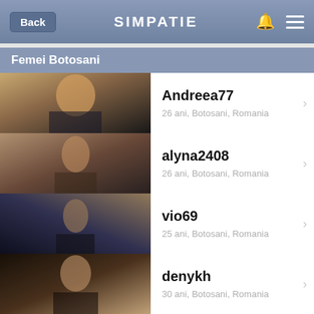Back  SIMPATIE
Femei Botosani
Andreea77 — 26 ani, Botosani, Romania
alyna2408 — 26 ani, Botosani, Romania
vio69 — 25 ani, Botosani, Romania
denykh — 30 ani, Botosani, Romania